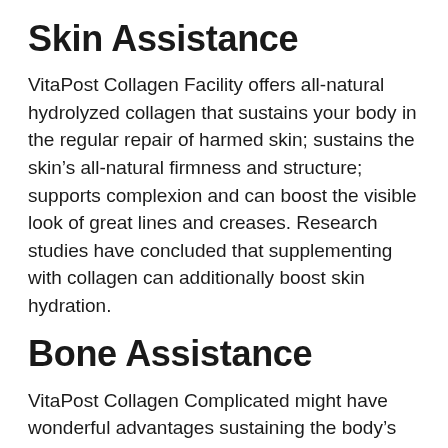Skin Assistance
VitaPost Collagen Facility offers all-natural hydrolyzed collagen that sustains your body in the regular repair of harmed skin; sustains the skin’s all-natural firmness and structure; supports complexion and can boost the visible look of great lines and creases. Research studies have concluded that supplementing with collagen can additionally boost skin hydration.
Bone Assistance
VitaPost Collagen Complicated might have wonderful advantages sustaining the body’s upkeep of the skeleton, particularly in